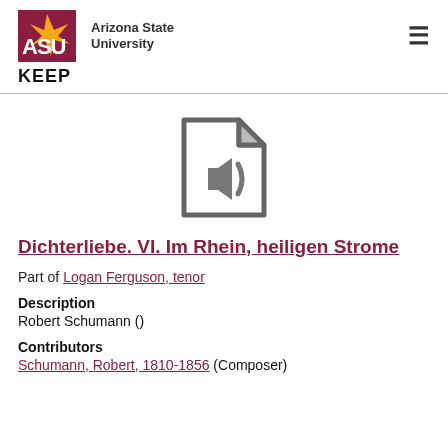[Figure (logo): Arizona State University logo with ASU text in maroon and university name]
KEEP
[Figure (illustration): Gray audio/sound file icon - document with speaker symbol]
Dichterliebe. VI. Im Rhein, heiligen Strome
Part of Logan Ferguson, tenor
Description
Robert Schumann ()
Contributors
Schumann, Robert, 1810-1856 (Composer)